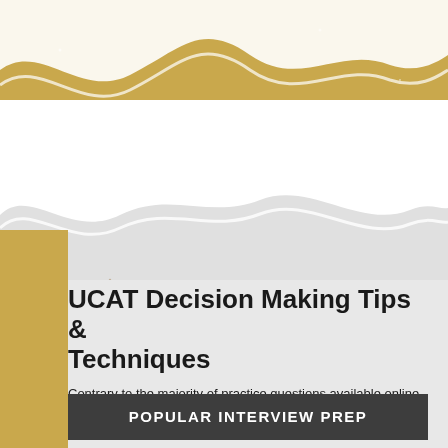[Figure (illustration): Decorative wavy banner design with gold/tan color at the top and a white wave cutout, with a second wave at the middle creating a gray lower section. A gold vertical strip runs down the left side below the mid-section.]
UCAT Decision Making Tips & Techniques
Contrary to the majority of practice questions available online (which only focus on two or three question types).
POPULAR INTERVIEW PREP